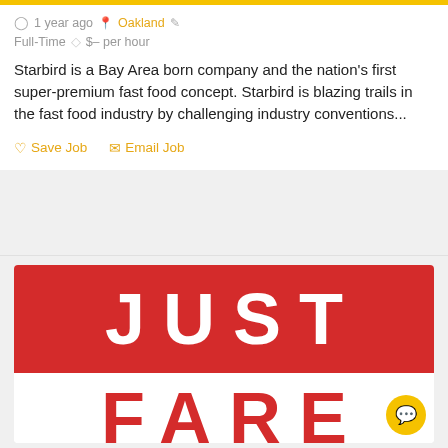1 year ago  Oakland  Full-Time  $– per hour
Starbird is a Bay Area born company and the nation's first super-premium fast food concept. Starbird is blazing trails in the fast food industry by challenging industry conventions...
Save Job  Email Job
[Figure (logo): Just Fare logo: red background with white text 'JUST' on top, white background with red text 'FARE' partially visible below]